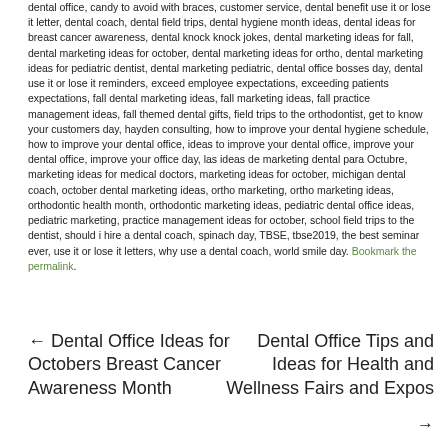dental office, candy to avoid with braces, customer service, dental benefit use it or lose it letter, dental coach, dental field trips, dental hygiene month ideas, dental ideas for breast cancer awareness, dental knock knock jokes, dental marketing ideas for fall, dental marketing ideas for october, dental marketing ideas for ortho, dental marketing ideas for pediatric dentist, dental marketing pediatric, dental office bosses day, dental use it or lose it reminders, exceed employee expectations, exceeding patients expectations, fall dental marketing ideas, fall marketing ideas, fall practice management ideas, fall themed dental gifts, field trips to the orthodontist, get to know your customers day, hayden consulting, how to improve your dental hygiene schedule, how to improve your dental office, ideas to improve your dental office, improve your dental office, improve your office day, las ideas de marketing dental para Octubre, marketing ideas for medical doctors, marketing ideas for october, michigan dental coach, october dental marketing ideas, ortho marketing, ortho marketing ideas, orthodontic health month, orthodontic marketing ideas, pediatric dental office ideas, pediatric marketing, practice management ideas for october, school field trips to the dentist, should i hire a dental coach, spinach day, TBSE, tbse2019, the best seminar ever, use it or lose it letters, why use a dental coach, world smile day. Bookmark the permalink.
← Dental Office Ideas for Octobers Breast Cancer Awareness Month
Dental Office Tips and Ideas for Health and Wellness Fairs and Expos →